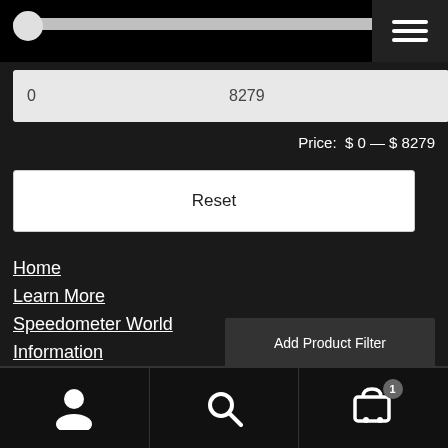[Figure (screenshot): Top navigation bar with horizontal slider, hamburger menu icon on dark background]
0
8279
Price:  $ 0 — $ 8279
Reset
Home
Learn More
Speedometer World
Information
Books & Videos
About Us
Add Product Filter
Bottom navigation bar with user, search, and cart icons